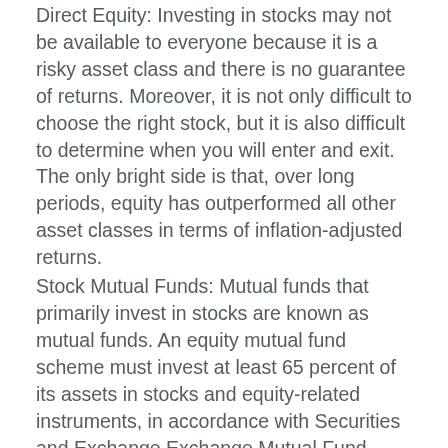Direct Equity: Investing in stocks may not be available to everyone because it is a risky asset class and there is no guarantee of returns. Moreover, it is not only difficult to choose the right stock, but it is also difficult to determine when you will enter and exit. The only bright side is that, over long periods, equity has outperformed all other asset classes in terms of inflation-adjusted returns.
Stock Mutual Funds: Mutual funds that primarily invest in stocks are known as mutual funds. An equity mutual fund scheme must invest at least 65 percent of its assets in stocks and equity-related instruments, in accordance with Securities and Exchange Exchange Mutual Fund (SEBI) regulations. A stock fund can be operated actively or passively.
Debt Mutual Funds: Debt mutual fund schemes are ideal for investors looking for a steady stream of income. When compared to equity funds, they are less volatile and therefore considered less risky. Fixed income securities such as corporate bonds, government securities, treasury bills, commercial paper, and other money market instruments are the primary investments of mutual funds, however,